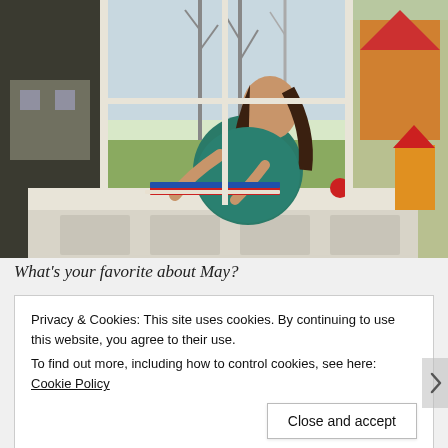[Figure (photo): A young girl in a teal/green dress sits cross-legged on a window seat, leaning forward playing with items (books and toys) on the seat. A large window behind her shows bare trees, green lawn, and a colorful playhouse outside. Warm backlit photography.]
What's your favorite about May?
Privacy & Cookies: This site uses cookies. By continuing to use this website, you agree to their use.
To find out more, including how to control cookies, see here: Cookie Policy
Close and accept